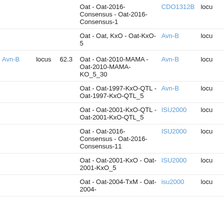| Name | Type | Position | Map | Marker | Feature |
| --- | --- | --- | --- | --- | --- |
|  |  |  | Oat - Oat-2016-Consensus - Oat-2016-Consensus-1 | CDO1312B | locu |
|  |  |  | Oat - Oat, KxO - Oat-KxO-5 | Avn-B | locu |
| Avn-B | locus | 62.3 | Oat - Oat-2010-MAMA - Oat-2010-MAMA-KO_5_30 | Avn-B | locu |
|  |  |  | Oat - Oat-1997-KxO-QTL - Oat-1997-KxO-QTL_5 | Avn-B | locu |
|  |  |  | Oat - Oat-2001-KxO-QTL - Oat-2001-KxO-QTL_5 | ISU2000 | locu |
|  |  |  | Oat - Oat-2016-Consensus - Oat-2016-Consensus-11 | ISU2000 | locu |
|  |  |  | Oat - Oat-2001-KxO - Oat-2001-KxO_5 | ISU2000 | locu |
|  |  |  | Oat - Oat-2004-TxM - Oat-2004- | isu2000 | locu |